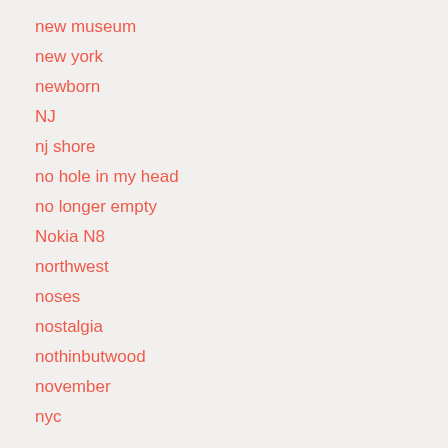new museum
new york
newborn
NJ
nj shore
no hole in my head
no longer empty
Nokia N8
northwest
noses
nostalgia
nothinbutwood
november
nyc